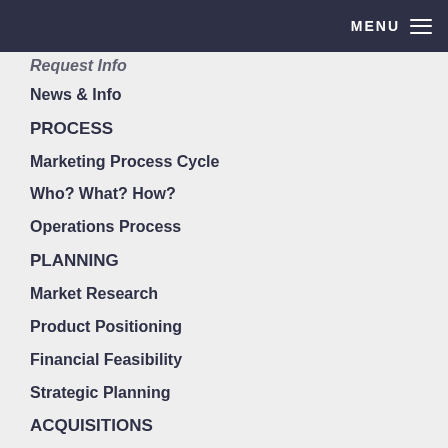MENU
Request Info
News & Info
PROCESS
Marketing Process Cycle
Who? What? How?
Operations Process
PLANNING
Market Research
Product Positioning
Financial Feasibility
Strategic Planning
ACQUISITIONS
Due Diligence
Brokerage Services
MARKETING
Branding
Creative Campaigns
Web Content Marketing